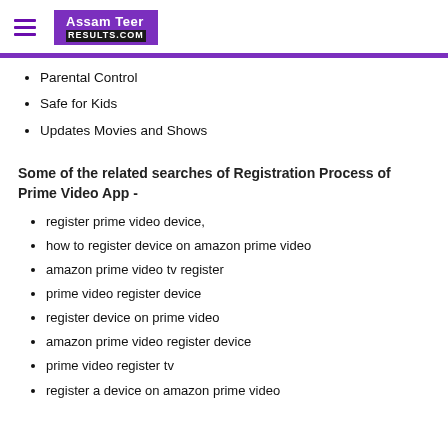Assam Teer RESULTS.COM
Parental Control
Safe for Kids
Updates Movies and Shows
Some of the related searches of Registration Process of Prime Video App -
register prime video device,
how to register device on amazon prime video
amazon prime video tv register
prime video register device
register device on prime video
amazon prime video register device
prime video register tv
register a device on amazon prime video